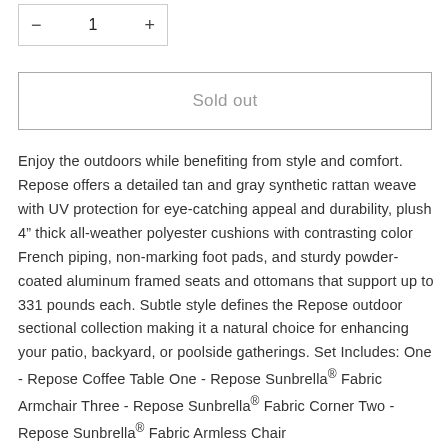[Figure (other): Quantity selector widget with minus button, number 1, and plus button inside a bordered box]
Sold out
Enjoy the outdoors while benefiting from style and comfort. Repose offers a detailed tan and gray synthetic rattan weave with UV protection for eye-catching appeal and durability, plush 4” thick all-weather polyester cushions with contrasting color French piping, non-marking foot pads, and sturdy powder-coated aluminum framed seats and ottomans that support up to 331 pounds each. Subtle style defines the Repose outdoor sectional collection making it a natural choice for enhancing your patio, backyard, or poolside gatherings. Set Includes: One - Repose Coffee Table One - Repose Sunbrella® Fabric Armchair Three - Repose Sunbrella® Fabric Corner Two - Repose Sunbrella® Fabric Armless Chair